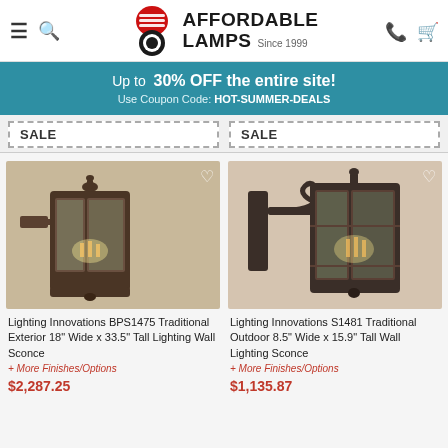Affordable Lamps Since 1999
Up to 30% OFF the entire site! Use Coupon Code: HOT-SUMMER-DEALS
SALE  SALE
[Figure (photo): Lighting Innovations BPS1475 Traditional Exterior wall sconce lantern in dark finish mounted on wall]
Lighting Innovations BPS1475 Traditional Exterior 18" Wide x 33.5" Tall Lighting Wall Sconce
+ More Finishes/Options
$2,287.25
[Figure (photo): Lighting Innovations S1481 Traditional Outdoor wall sconce lantern with scroll bracket in dark finish]
Lighting Innovations S1481 Traditional Outdoor 8.5" Wide x 15.9" Tall Wall Lighting Sconce
+ More Finishes/Options
$1,135.87